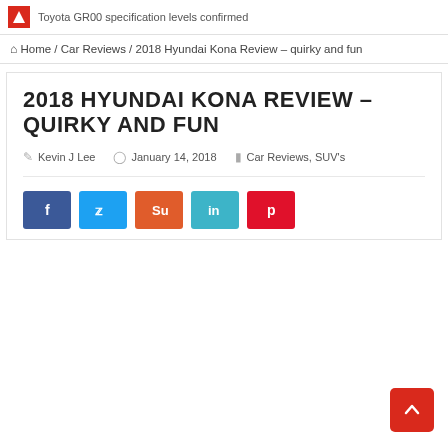Toyota GR00 specification levels confirmed
Home / Car Reviews / 2018 Hyundai Kona Review – quirky and fun
2018 HYUNDAI KONA REVIEW – QUIRKY AND FUN
Kevin J Lee   January 14, 2018   Car Reviews, SUV's